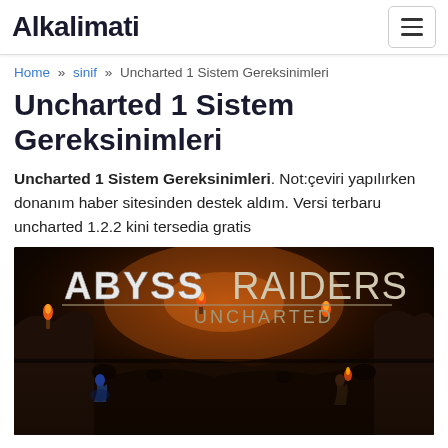Alkalimati
Home » sinif » Uncharted 1 Sistem Gereksinimleri
Uncharted 1 Sistem Gereksinimleri
Uncharted 1 Sistem Gereksinimleri. Not:çeviri yapılırken donanım haber sitesinden destek aldım. Versi terbaru uncharted 1.2.2 kini tersedia gratis
[Figure (screenshot): Abyss Raiders Uncharted game screenshot showing dark fantasy/underground scene with fire, creatures, and two characters. Title text 'ABYSS RAIDERS UNCHARTED' displayed prominently at top.]